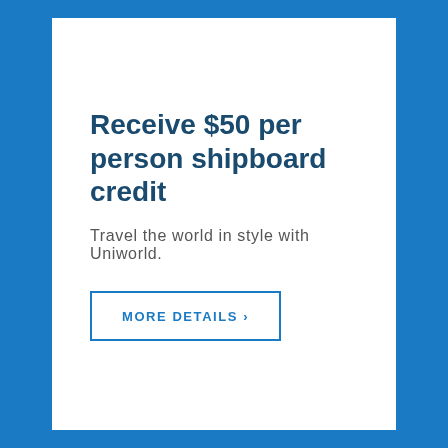Receive $50 per person shipboard credit
Travel the world in style with Uniworld.
MORE DETAILS >